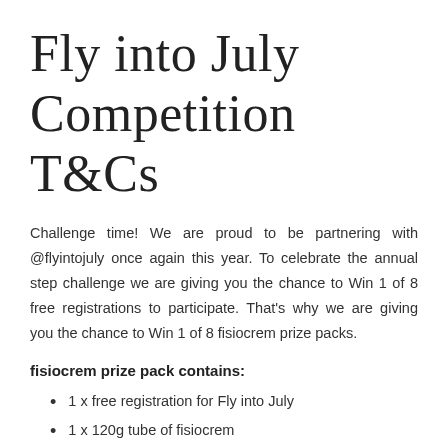Fly into July Competition T&Cs
Challenge time! We are proud to be partnering with @flyintojuly once again this year. To celebrate the annual step challenge we are giving you the chance to Win 1 of 8 free registrations to participate. That's why we are giving you the chance to Win 1 of 8 fisiocrem prize packs.
fisiocrem prize pack contains:
1 x free registration for Fly into July
1 x 120g tube of fisiocrem
1x 60g tube of fisiocrem
1 x fisiocrem...